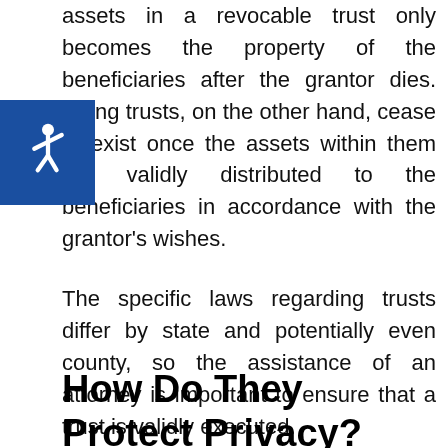assets in a revocable trust only becomes the property of the beneficiaries after the grantor dies. Living trusts, on the other hand, cease to exist once the assets within them are validly distributed to the beneficiaries in accordance with the grantor's wishes.

The specific laws regarding trusts differ by state and potentially even county, so the assistance of an attorney is important to ensure that a trust is validly executed.
[Figure (illustration): Accessibility icon (wheelchair symbol) in white on blue background]
How Do They Protect Privacy?